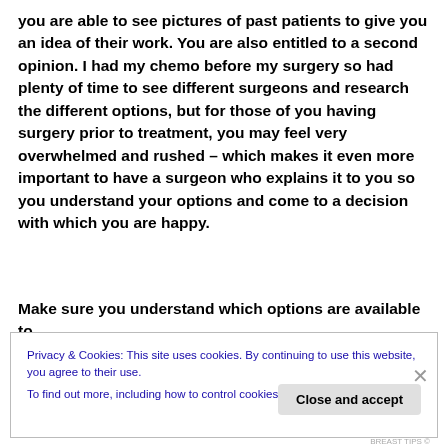you are able to see pictures of past patients to give you an idea of their work. You are also entitled to a second opinion. I had my chemo before my surgery so had plenty of time to see different surgeons and research the different options, but for those of you having surgery prior to treatment, you may feel very overwhelmed and rushed – which makes it even more important to have a surgeon who explains it to you so you understand your options and come to a decision with which you are happy.
Make sure you understand which options are available to
Privacy & Cookies: This site uses cookies. By continuing to use this website, you agree to their use.
To find out more, including how to control cookies, see here: Cookie Policy
Close and accept